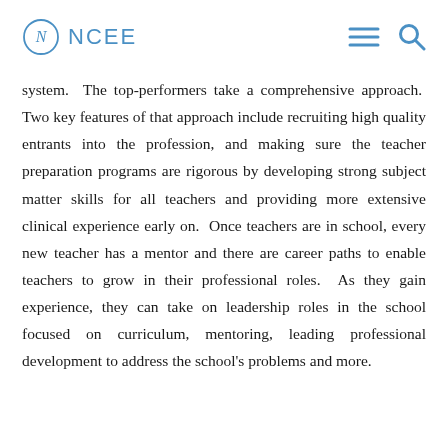NCEE
system.  The top-performers take a comprehensive approach.  Two key features of that approach include recruiting high quality entrants into the profession, and making sure the teacher preparation programs are rigorous by developing strong subject matter skills for all teachers and providing more extensive clinical experience early on.  Once teachers are in school, every new teacher has a mentor and there are career paths to enable teachers to grow in their professional roles.  As they gain experience, they can take on leadership roles in the school focused on curriculum, mentoring, leading professional development to address the school's problems and more.